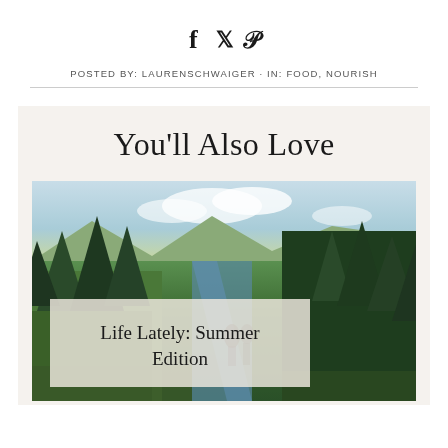[Figure (other): Social media share icons: Facebook (f), Twitter (bird), Pinterest (P)]
POSTED BY: LAURENSCHWAIGER · IN: FOOD, NOURISH
You'll Also Love
[Figure (photo): Outdoor nature photo of a mountain stream with tall evergreen trees and two people standing in a meadow. Overlaid with a semi-transparent caption box reading 'Life Lately: Summer Edition']
Life Lately: Summer Edition